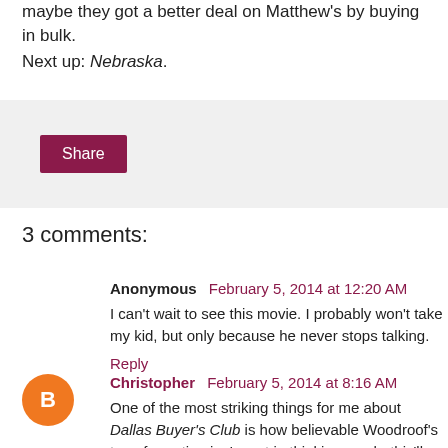maybe they got a better deal on Matthew's by buying in bulk.
Next up: Nebraska.
[Figure (other): Share button widget area with light gray background]
3 comments:
Anonymous February 5, 2014 at 12:20 AM
I can't wait to see this movie. I probably won't take my kid, but only because he never stops talking.
Reply
Christopher February 5, 2014 at 8:16 AM
One of the most striking things for me about Dallas Buyer's Club is how believable Woodroof's transformation is. I went in thinking, yeah, this'll be all heartwarming and feel-good